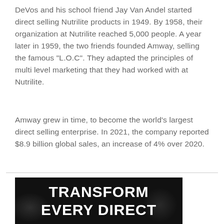DeVos and his school friend Jay Van Andel started direct selling Nutrilite products in 1949. By 1958, their organization at Nutrilite reached 5,000 people. A year later in 1959, the two friends founded Amway, selling the famous “L.O.C”. They adapted the principles of multi level marketing that they had worked with at Nutrilite.
Amway grew in time, to become the world’s largest direct selling enterprise. In 2021, the company reported $8.9 billion global sales, an increase of 4% over 2020.
[Figure (illustration): Dark banner image with white bold text reading 'TRANSFORM EVERY DIRECT' on a black background with subtle light glow effects]